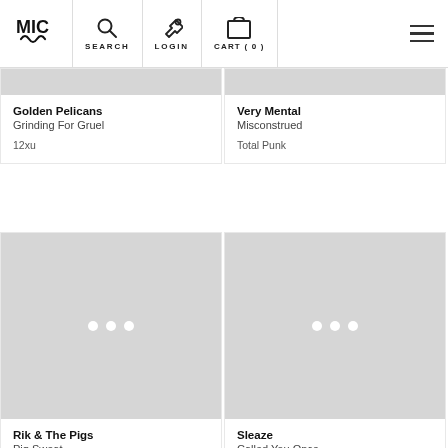MIC | SEARCH | LOGIN | CART (0)
Golden Pelicans
Grinding For Gruel
12xu
Very Mental
Misconstrued
Total Punk
[Figure (photo): Product image placeholder with loading dots for Rik & The Pigs - Pig Sweat]
Rik & The Pigs
Pig Sweat
Total Punk
[Figure (photo): Product image placeholder with loading dots for Sleaze - Called You Once]
Sleaze
Called You Once
Total Punk